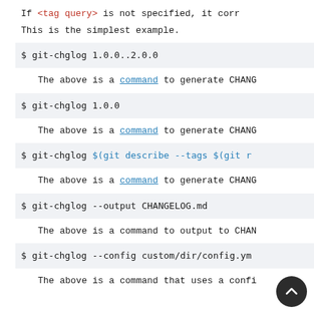If <tag query> is not specified, it corr
This is the simplest example.
$ git-chglog 1.0.0..2.0.0
The above is a command to generate CHANG
$ git-chglog 1.0.0
The above is a command to generate CHANG
$ git-chglog $(git describe --tags $(git r
The above is a command to generate CHANG
$ git-chglog --output CHANGELOG.md
The above is a command to output to CHAN
$ git-chglog --config custom/dir/config.ym
The above is a command that uses a confi